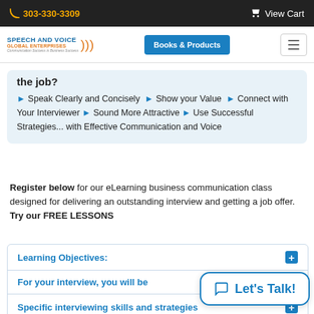303-330-3309  View Cart
[Figure (screenshot): Speech and Voice Global Enterprises logo with navigation bar including Books & Products button and hamburger menu]
the job?
Speak Clearly and Concisely
Show your Value
Connect with Your Interviewer
Sound More Attractive
Use Successful Strategies... with Effective Communication and Voice
Register below for our eLearning business communication class designed for delivering an outstanding interview and getting a job offer. Try our FREE LESSONS
Learning Objectives:
For your interview, you will be
Specific interviewing skills and strategies
[Figure (other): Let's Talk! chat bubble button overlay]